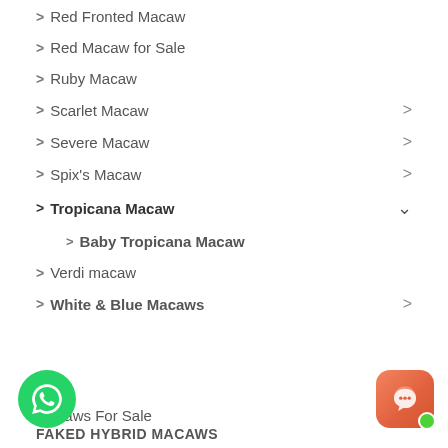> Red Fronted Macaw
> Red Macaw for Sale
> Ruby Macaw
> Scarlet Macaw
> Severe Macaw
> Spix's Macaw
> Tropicana Macaw
> Baby Tropicana Macaw
> Verdi macaw
> White & Blue Macaws
Macaws For Sale
FAKED HYBRID MACAWS